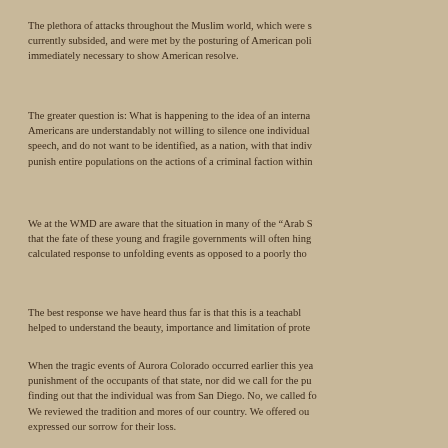The plethora of attacks throughout the Muslim world, which were s... currently subsided, and were met by the posturing of American poli... immediately necessary to show American resolve.
The greater question is: What is happening to the idea of an interna... Americans are understandably not willing to silence one individual speech, and do not want to be identified, as a nation, with that indiv... punish entire populations on the actions of a criminal faction within...
We at the WMD are aware that the situation in many of the “Arab S... that the fate of these young and fragile governments will often hing... calculated response to unfolding events as opposed to a poorly tho...
The best response we have heard thus far is that this is a teachabl... helped to understand the beauty, importance and limitation of prote...
When the tragic events of Aurora Colorado occurred earlier this yea... punishment of the occupants of that state, nor did we call for the pu... finding out that the individual was from San Diego. No, we called fo... We reviewed the tradition and mores of our country. We offered ou... expressed our sorrow for their loss.